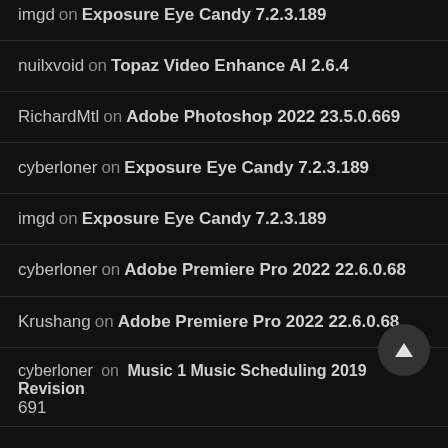imgd on Exposure Eye Candy 7.2.3.189
nuilxvoid on Topaz Video Enhance AI 2.6.4
RichardMtl on Adobe Photoshop 2022 23.5.0.669
cyberloner on Exposure Eye Candy 7.2.3.189
imgd on Exposure Eye Candy 7.2.3.189
cyberloner on Adobe Premiere Pro 2022 22.6.0.68
Krushang on Adobe Premiere Pro 2022 22.6.0.68
cyberloner on Music 1 Music Scheduling 2019 Revision 691